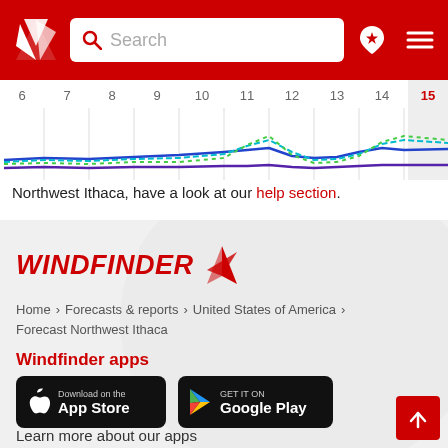[Figure (screenshot): Windfinder website header with red background, logo, search bar, location pin icon, and hamburger menu]
[Figure (line-chart): Wind forecast line chart showing dates 6-15 with multiple colored lines (blue, cyan, green) representing wind data over the period]
Northwest Ithaca, have a look at our help section.
[Figure (logo): Windfinder logo in red italic text with red triangular triskelion icon]
Home > Forecasts & reports > United States of America > Forecast Northwest Ithaca
Windfinder apps
[Figure (other): Download on the App Store button (black rounded rectangle)]
[Figure (other): Get it on Google Play button (black rounded rectangle)]
Learn more about our apps